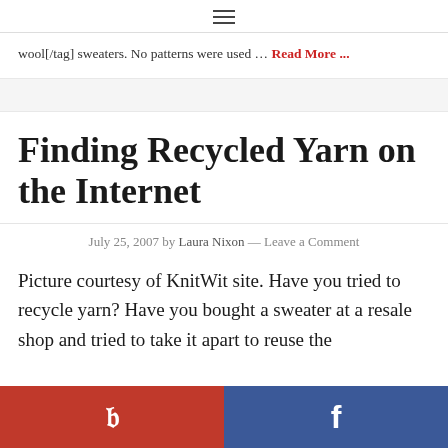≡
wool[/tag] sweaters. No patterns were used … Read More ...
Finding Recycled Yarn on the Internet
July 25, 2007 by Laura Nixon — Leave a Comment
Picture courtesy of KnitWit site. Have you tried to recycle yarn? Have you bought a sweater at a resale shop and tried to take it apart to reuse the